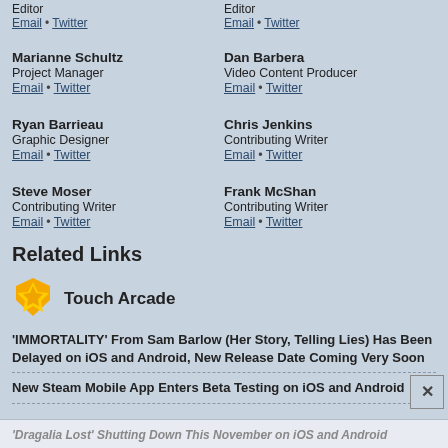Editor • Email • Twitter (left column top)
Editor • Email • Twitter (right column top)
Marianne Schultz
Project Manager
Email • Twitter
Dan Barbera
Video Content Producer
Email • Twitter
Ryan Barrieau
Graphic Designer
Email • Twitter
Chris Jenkins
Contributing Writer
Email • Twitter
Steve Moser
Contributing Writer
Email • Twitter
Frank McShan
Contributing Writer
Email • Twitter
Related Links
[Figure (logo): Touch Arcade app icon - yellow and orange shield/star icon]
Touch Arcade
'IMMORTALITY' From Sam Barlow (Her Story, Telling Lies) Has Been Delayed on iOS and Android, New Release Date Coming Very Soon
New Steam Mobile App Enters Beta Testing on iOS and Android
'Dragalia Lost' Shutting Down This November on iOS and Android